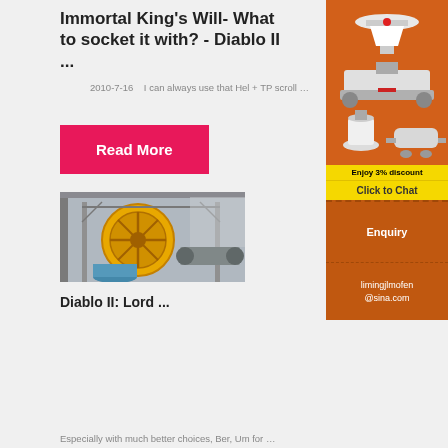Immortal King's Will- What to socket it with? - Diablo II ...
2010-7-16    I can always use that Hel + TP scroll …
Read More
[Figure (photo): Industrial machinery photograph showing large yellow rotating drum and metal framework]
Diablo II: Lord ...
[Figure (illustration): Orange advertisement sidebar showing industrial crushing/grinding machines with discount offer, Enjoy 3% discount, Click to Chat, Enquiry, limingjlmofen@sina.com]
Especially with much better choices, Ber, Um for …